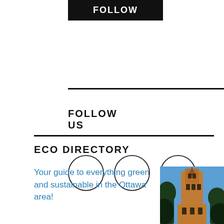FOLLOW
FOLLOW US
[Figure (illustration): Three empty circles representing social media icon placeholders]
ECO DIRECTORY
Your guide to everything green and sustainable in the Ottawa area!
[Figure (photo): Photo of a tall gothic church tower with trees in the foreground against a blue sky, warm golden light on the building]